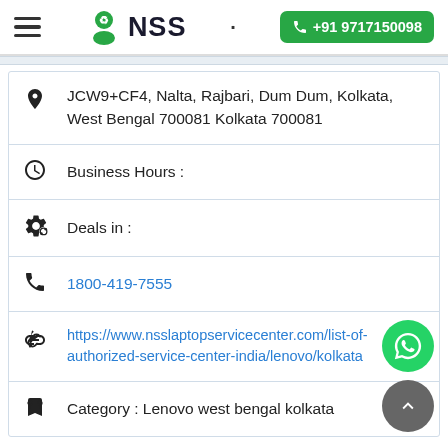NSS | +91 9717150098
JCW9+CF4, Nalta, Rajbari, Dum Dum, Kolkata, West Bengal 700081 Kolkata 700081
Business Hours :
Deals in :
1800-419-7555
https://www.nsslaptopservicecenter.com/list-of-authorized-service-center-india/lenovo/kolkata
Category : Lenovo west bengal kolkata